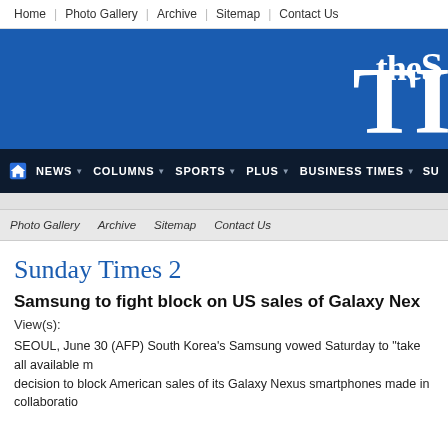Home | Photo Gallery | Archive | Sitemap | Contact Us
[Figure (screenshot): Newspaper website banner showing 'the S' and 'TI' in white bold text on blue background, with dark navy navigation bar containing menu items: home icon, NEWS, COLUMNS, SPORTS, PLUS, BUSINESS TIMES, SU (truncated)]
Photo Gallery | Archive | Sitemap | Contact Us
Sunday Times 2
Samsung to fight block on US sales of Galaxy Nex...
View(s):
SEOUL, June 30 (AFP) South Korea's Samsung vowed Saturday to "take all available m... decision to block American sales of its Galaxy Nexus smartphones made in collaboratio...